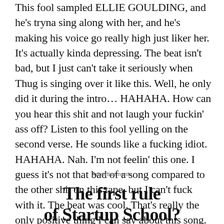This fool sampled ELLIE GOULDING, and he's tryna sing along with her, and he's making his voice go really high just liker her. It's actually kinda depressing. The beat isn't bad, but I just can't take it seriously when Thug is singing over it like this. Well, he only did it during the intro… HAHAHA. How can you hear this shit and not laugh your fuckin' ass off? Listen to this fool yelling on the second verse. He sounds like a fucking idiot. HAHAHA. Nah. I'm not feelin' this one. I guess it's not that bad of a song compared to the other shit on this tape, but I can't fuck with it. The beat was cool. That's really the only positive thing I can say about this song. This shit is wack to me. 2/5
Advertisements
The first rule of Startup School?